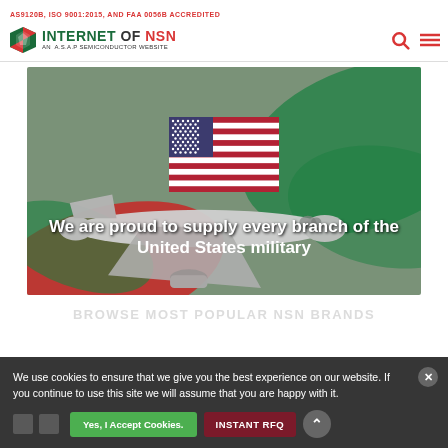AS9120B, ISO 9001:2015, AND FAA 0056B ACCREDITED
[Figure (logo): Internet of NSN logo — shield icon with green and red, text 'INTERNET OF NSN', subtitle 'AN A.S.A.P SEMICONDUCTOR WEBSITE']
[Figure (photo): Hero banner showing a military/transport airplane in flight against a muted green background with decorative green and red swoosh shapes. A US flag is displayed centrally above the text.]
We are proud to supply every branch of the United States military
BROWSE MOST POPULAR NSN BRANDS
We use cookies to ensure that we give you the best experience on our website. If you continue to use this site we will assume that you are happy with it.
Yes, I Accept Cookies.
INSTANT RFQ